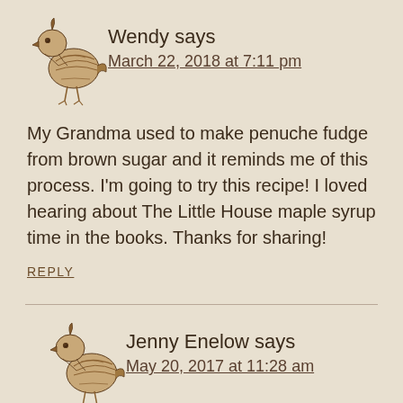[Figure (illustration): Illustrated bird/quail avatar for Wendy comment]
Wendy says
March 22, 2018 at 7:11 pm
My Grandma used to make penuche fudge from brown sugar and it reminds me of this process. I'm going to try this recipe! I loved hearing about The Little House maple syrup time in the books. Thanks for sharing!
REPLY
[Figure (illustration): Illustrated bird/quail avatar for Jenny Enelow comment]
Jenny Enelow says
May 20, 2017 at 11:28 am
It turned out just like the picture, and it